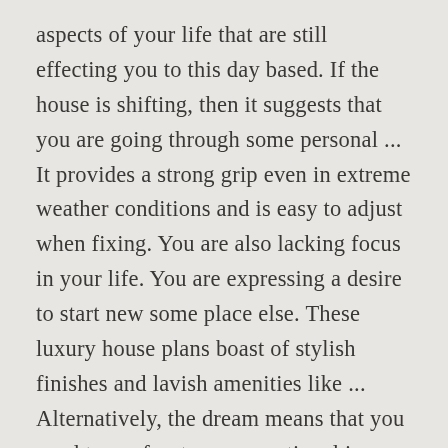aspects of your life that are still effecting you to this day based. If the house is shifting, then it suggests that you are going through some personal ... It provides a strong grip even in extreme weather conditions and is easy to adjust when fixing. You are also lacking focus in your life. You are expressing a desire to start new some place else. These luxury house plans boast of stylish finishes and lavish amenities like ... Alternatively, the dream means that you need to confront some emotional issue. Negatively, a haunted house may reflect your awareness of yourself living with trauma that you aren't dealing with. It may refer to a particular relationship or current situation in your life. Alternatively, the dream may be...